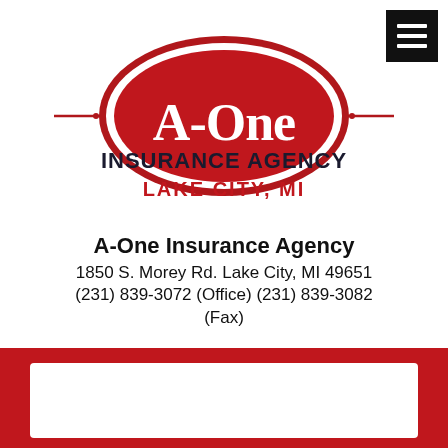[Figure (logo): A-One Insurance Agency logo: red oval with white A-One text, decorative rope-style lines on each side, INSURANCE AGENCY in bold dark text, LAKE CITY, MI in bold red text below]
A-One Insurance Agency
1850 S. Morey Rd. Lake City, MI 49651
(231) 839-3072 (Office) (231) 839-3082 (Fax)
Find Us on Facebook!
[Figure (other): Red background bar at bottom with white rounded rectangle card]